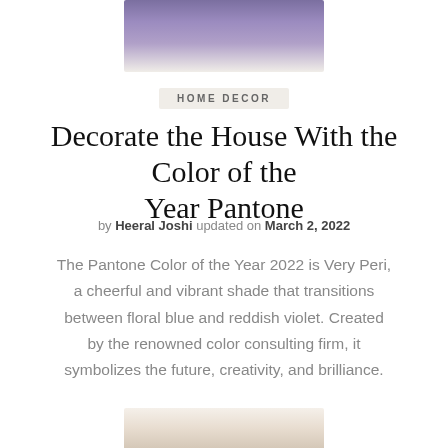[Figure (photo): Partial photo of purple/violet decorative items, cropped at top of page]
HOME DECOR
Decorate the House With the Color of the Year Pantone
by Heeral Joshi updated on March 2, 2022
The Pantone Color of the Year 2022 is Very Peri, a cheerful and vibrant shade that transitions between floral blue and reddish violet. Created by the renowned color consulting firm, it symbolizes the future, creativity, and brilliance.
[Figure (photo): Partial photo at bottom of page showing room decor, cropped]